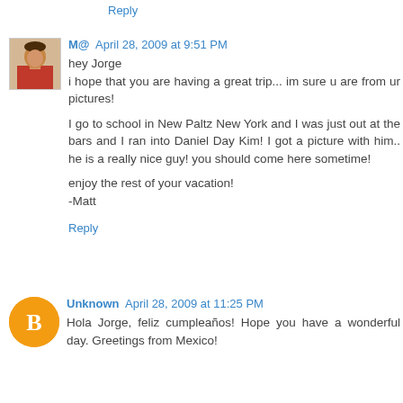Reply
M@  April 28, 2009 at 9:51 PM
hey Jorge
i hope that you are having a great trip... im sure u are from ur pictures!

I go to school in New Paltz New York and I was just out at the bars and I ran into Daniel Day Kim! I got a picture with him.. he is a really nice guy! you should come here sometime!

enjoy the rest of your vacation!
-Matt
Reply
Unknown  April 28, 2009 at 11:25 PM
Hola Jorge, feliz cumpleaños! Hope you have a wonderful day. Greetings from Mexico!